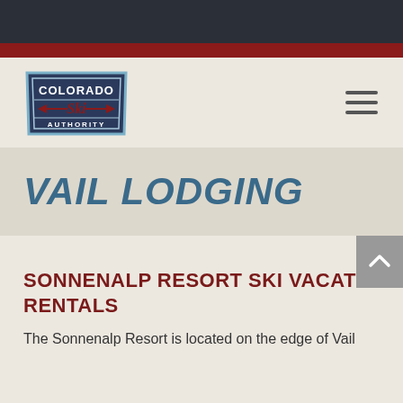[Figure (logo): Colorado Ski Authority logo — a retro badge shape in navy blue and white with red 'Ski' script and arrows]
VAIL LODGING
SONNENALP RESORT SKI VACATION RENTALS
The Sonnenalp Resort is located on the edge of Vail